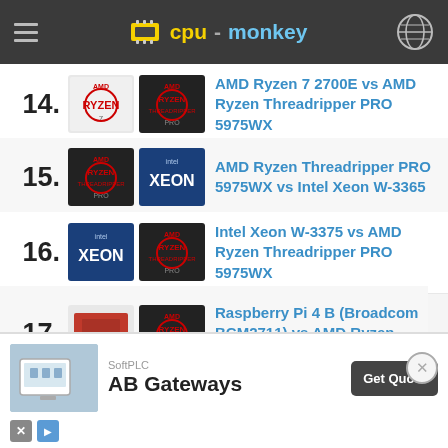cpu-monkey
14. AMD Ryzen 7 2700E vs AMD Ryzen Threadripper PRO 5975WX
15. AMD Ryzen Threadripper PRO 5975WX vs Intel Xeon W-3365
16. Intel Xeon W-3375 vs AMD Ryzen Threadripper PRO 5975WX
17. Raspberry Pi 4 B (Broadcom BCM2711) vs AMD Ryzen Threadripper PRO 5975WX
18. AMD Ryzen Threadripper PRO ...
19. AMD Ryzen ...
[Figure (screenshot): SoftPLC AB Gateways advertisement with Get Quote button]